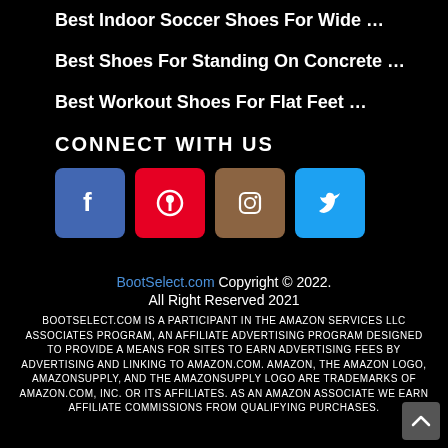Best Indoor Soccer Shoes For Wide …
Best Shoes For Standing On Concrete …
Best Workout Shoes For Flat Feet …
CONNECT WITH US
[Figure (other): Social media icons: Facebook (blue), Pinterest (red), Instagram (brown), Twitter (light blue)]
BootSelect.com Copyright © 2022. All Right Reserved 2021
BOOTSELECT.COM IS A PARTICIPANT IN THE AMAZON SERVICES LLC ASSOCIATES PROGRAM, AN AFFILIATE ADVERTISING PROGRAM DESIGNED TO PROVIDE A MEANS FOR SITES TO EARN ADVERTISING FEES BY ADVERTISING AND LINKING TO AMAZON.COM. AMAZON, THE AMAZON LOGO, AMAZONSUPPLY, AND THE AMAZONSUPPLY LOGO ARE TRADEMARKS OF AMAZON.COM, INC. OR ITS AFFILIATES. AS AN AMAZON ASSOCIATE WE EARN AFFILIATE COMMISSIONS FROM QUALIFYING PURCHASES.